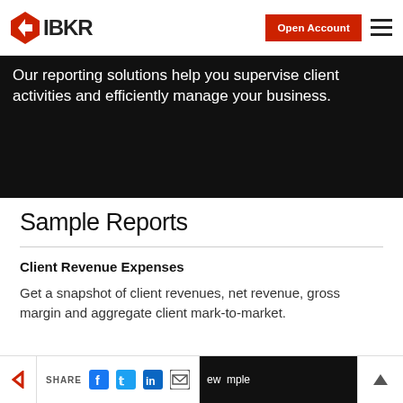IBKR | Open Account
Our reporting solutions help you supervise client activities and efficiently manage your business.
Sample Reports
Client Revenue Expenses
Get a snapshot of client revenues, net revenue, gross margin and aggregate client mark-to-market.
SHARE | View Sample